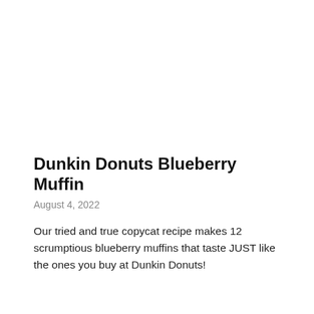Dunkin Donuts Blueberry Muffin
August 4, 2022
Our tried and true copycat recipe makes 12 scrumptious blueberry muffins that taste JUST like the ones you buy at Dunkin Donuts!